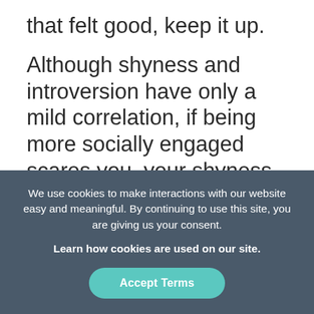that felt good, keep it up.
Although shyness and introversion have only a mild correlation, if being more socially engaged scares you, your shyness may be what’s holding you back. The key here is
We use cookies to make interactions with our website easy and meaningful. By continuing to use this site, you are giving us your consent.
Learn how cookies are used on our site.
Accept Terms